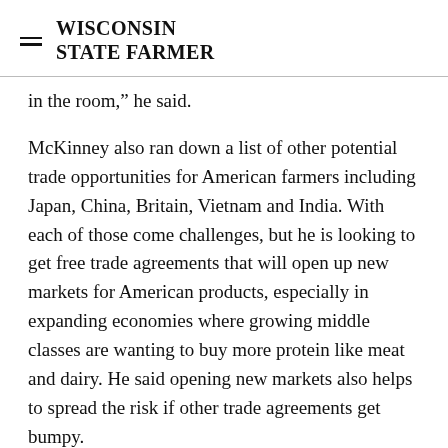WISCONSIN STATE FARMER
in the room,” he said.
McKinney also ran down a list of other potential trade opportunities for American farmers including Japan, China, Britain, Vietnam and India. With each of those come challenges, but he is looking to get free trade agreements that will open up new markets for American products, especially in expanding economies where growing middle classes are wanting to buy more protein like meat and dairy. He said opening new markets also helps to spread the risk if other trade agreements get bumpy.
He admitted one of the toughest markets right now is the European Union. He was critical of the